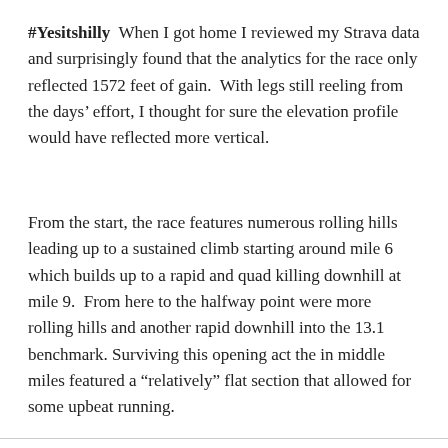#Yesitshilly  When I got home I reviewed my Strava data and surprisingly found that the analytics for the race only reflected 1572 feet of gain.  With legs still reeling from the days' effort, I thought for sure the elevation profile would have reflected more vertical.
From the start, the race features numerous rolling hills leading up to a sustained climb starting around mile 6 which builds up to a rapid and quad killing downhill at mile 9.  From here to the halfway point were more rolling hills and another rapid downhill into the 13.1 benchmark. Surviving this opening act the in middle miles featured a “relatively” flat section that allowed for some upbeat running.